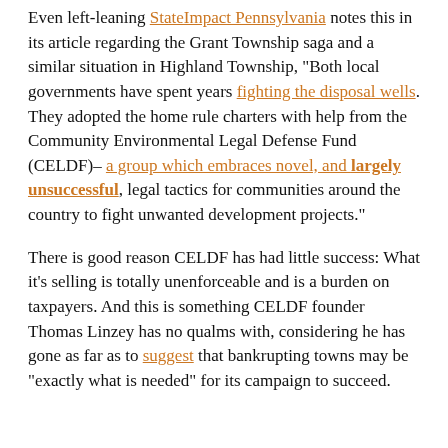Even left-leaning StateImpact Pennsylvania notes this in its article regarding the Grant Township saga and a similar situation in Highland Township, "Both local governments have spent years fighting the disposal wells. They adopted the home rule charters with help from the Community Environmental Legal Defense Fund (CELDF)– a group which embraces novel, and largely unsuccessful, legal tactics for communities around the country to fight unwanted development projects."
There is good reason CELDF has had little success: What it's selling is totally unenforceable and is a burden on taxpayers. And this is something CELDF founder Thomas Linzey has no qualms with, considering he has gone as far as to suggest that bankrupting towns may be "exactly what is needed" for its campaign to succeed.